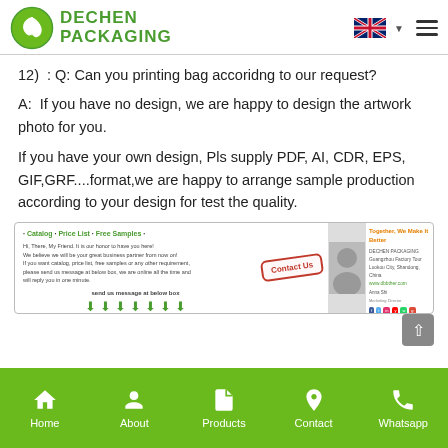[Figure (logo): Dechen Packaging logo with green leaf icon and brand name]
12)  : Q: Can you printing bag accoridng to our request?
A:  If you have no design, we are happy to design the artwork photo for you.
If you have your own design, Pls supply PDF, AI, CDR, EPS, GIF,GRF....format,we are happy to arrange sample production according to your design for test the quality.
[Figure (infographic): Contact us banner with catalog/price list/free samples info, Contact Us stamp, photo of representative, and company info. Includes send us message at below box text with green arrows.]
Home  About  Products  Contact  Whatsapp